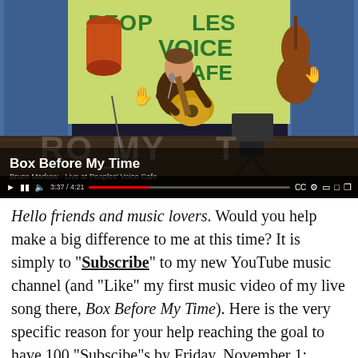[Figure (screenshot): YouTube video thumbnail showing a man playing acoustic guitar on a stage in front of a colorful banner reading 'PEOPLES VOICE CAFE'. The video title overlay reads 'Box Before My Time' with subtitle 'Bruce Markow - Live at Peoples' Voice Cafe'. Standard YouTube player controls visible at the bottom.]
Hello friends and music lovers. Would you help make a big difference to me at this time? It is simply to "Subscribe" to my new YouTube music channel (and "Like" my first music video of my live song there, Box Before My Time). Here is the very specific reason for your help reaching the goal to have 100 "Subscibe"s by Friday, November 1: